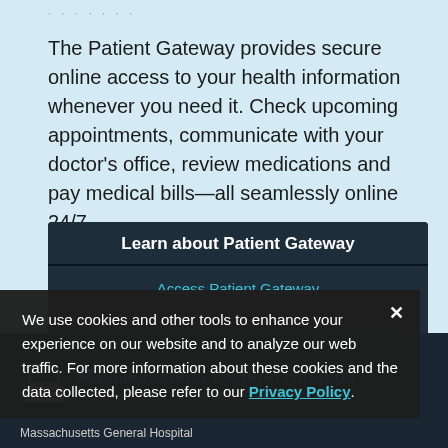.......
The Patient Gateway provides secure online access to your health information whenever you need it. Check upcoming appointments, communicate with your doctor's office, review medications and pay medical bills—all seamlessly online 24/7.
Learn about Patient Gateway
Access Patient Gateway
We use cookies and other tools to enhance your experience on our website and to analyze our web traffic. For more information about these cookies and the data collected, please refer to our Privacy Policy.
[Figure (logo): Massachusetts General Hospital building/column icon logo]
Massachusetts General Hospital
Founding Member, Mass General Brigham
Massachusetts General Hospital